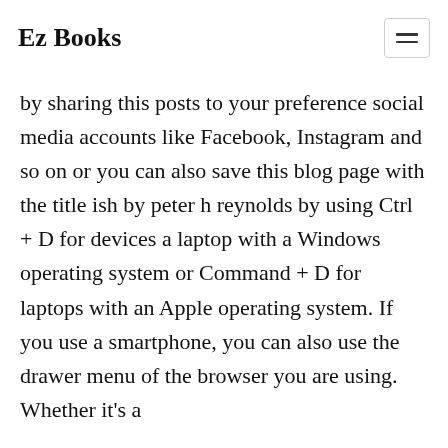Ez Books
by sharing this posts to your preference social media accounts like Facebook, Instagram and so on or you can also save this blog page with the title ish by peter h reynolds by using Ctrl + D for devices a laptop with a Windows operating system or Command + D for laptops with an Apple operating system. If you use a smartphone, you can also use the drawer menu of the browser you are using. Whether it's a